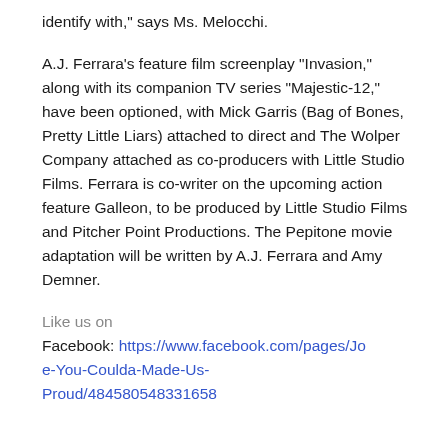identify with," says Ms. Melocchi.
A.J. Ferrara's feature film screenplay "Invasion," along with its companion TV series "Majestic-12," have been optioned, with Mick Garris (Bag of Bones, Pretty Little Liars) attached to direct and The Wolper Company attached as co-producers with Little Studio Films. Ferrara is co-writer on the upcoming action feature Galleon, to be produced by Little Studio Films and Pitcher Point Productions. The Pepitone movie adaptation will be written by A.J. Ferrara and Amy Demner.
Like us on Facebook: https://www.facebook.com/pages/Joe-You-Coulda-Made-Us-Proud/484580548331658